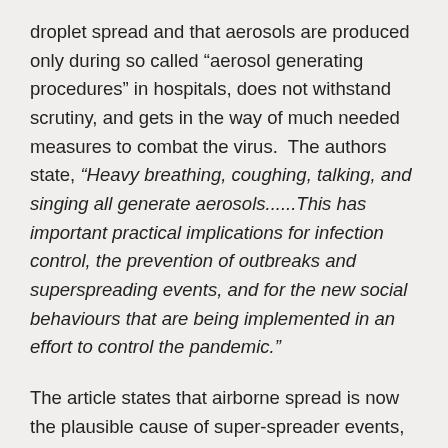droplet spread and that aerosols are produced only during so called “aerosol generating procedures” in hospitals, does not withstand scrutiny, and gets in the way of much needed measures to combat the virus.  The authors state, “Heavy breathing, coughing, talking, and singing all generate aerosols......This has important practical implications for infection control, the prevention of outbreaks and superspreading events, and for the new social behaviours that are being implemented in an effort to control the pandemic.”
The article states that airborne spread is now the plausible cause of super-spreader events, and it seems very likely that several outbreaks here in the UK, for example Greencore in Northampton, the garment factories in Leicester, meat and poultry